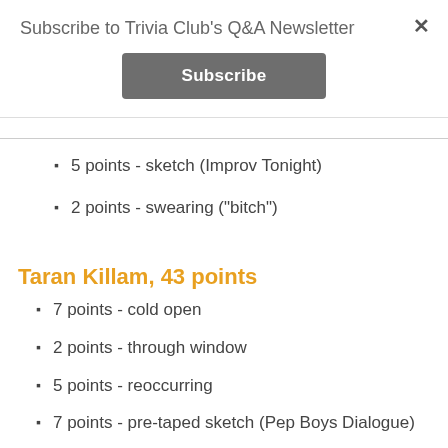Subscribe to Trivia Club's Q&A Newsletter
Subscribe
5 points - sketch (Improv Tonight)
2 points - swearing ("bitch")
Taran Killam, 43 points
7 points - cold open
2 points - through window
5 points - reoccurring
7 points - pre-taped sketch (Pep Boys Dialogue)
5 points - sketch (Wrestlemania Promo)